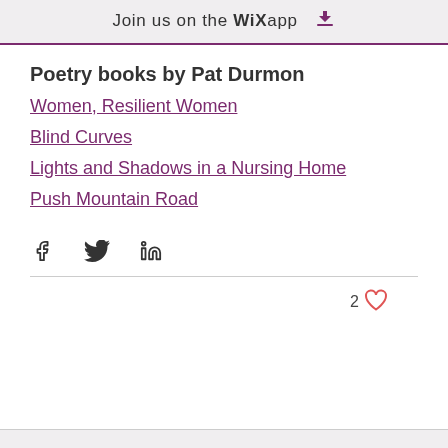Join us on the WiX app
Poetry books by Pat Durmon
Women, Resilient Women
Blind Curves
Lights and Shadows in a Nursing Home
Push Mountain Road
[Figure (infographic): Social share icons: Facebook, Twitter, LinkedIn]
2 likes